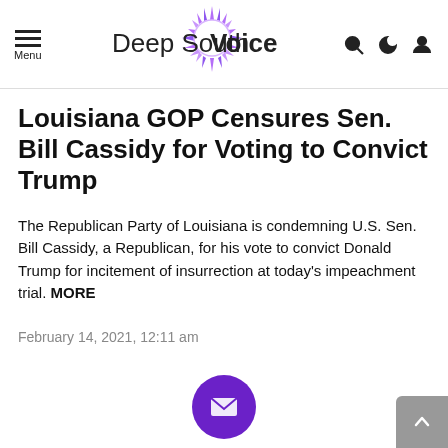Deep SouthVoice
Louisiana GOP Censures Sen. Bill Cassidy for Voting to Convict Trump
The Republican Party of Louisiana is condemning U.S. Sen. Bill Cassidy, a Republican, for his vote to convict Donald Trump for incitement of insurrection at today's impeachment trial. MORE
February 14, 2021, 12:11 am
[Figure (other): Purple circle with white envelope/email icon]
Your first name
Your email address